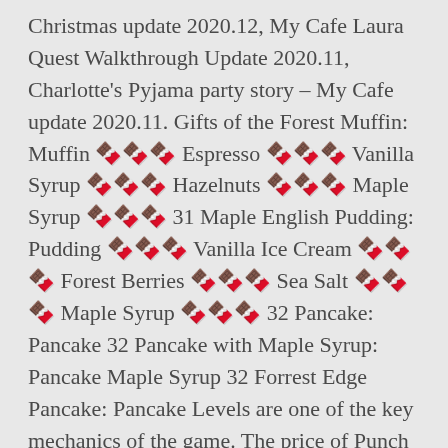Christmas update 2020.12, My Cafe Laura Quest Walkthrough Update 2020.11, Charlotte's Pyjama party story – My Cafe update 2020.11. Gifts of the Forest Muffin: Muffin 🍫🍫🍫 Espresso 🍫🍫🍫 Vanilla Syrup 🍫🍫🍫 Hazelnuts 🍫🍫🍫 Maple Syrup 🍫🍫🍫 31 Maple English Pudding: Pudding 🍫🍫🍫 Vanilla Ice Cream 🍫🍫🍫 Forest Berries 🍫🍫🍫 Sea Salt 🍫🍫🍫 Maple Syrup 🍫🍫🍫 32 Pancake: Pancake 32 Pancake with Maple Syrup: Pancake Maple Syrup 32 Forrest Edge Pancake: Pancake Levels are one of the key mechanics of the game. The price of Punch fountain is 5.1 million, if you want to buy the basic level of the item, it will cost you 1.7 million. I am not sure if basic cherry case